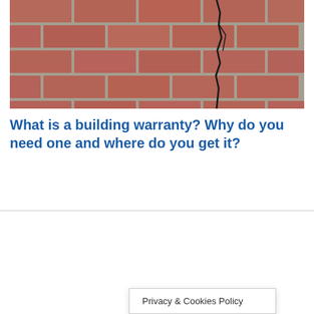[Figure (photo): Close-up photograph of a red brick wall with visible cracking/fault line running diagonally through the mortar joints]
What is a building warranty? Why do you need one and where do you get it?
Privacy & Cookies Policy